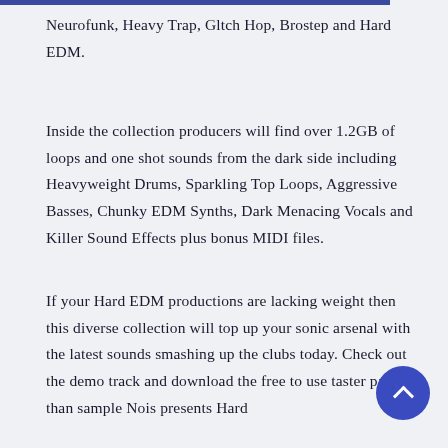Neurofunk, Heavy Trap, Gltch Hop, Brostep and Hard EDM.
Inside the collection producers will find over 1.2GB of loops and one shot sounds from the dark side including Heavyweight Drums, Sparkling Top Loops, Aggressive Basses, Chunky EDM Synths, Dark Menacing Vocals and Killer Sound Effects plus bonus MIDI files.
If your Hard EDM productions are lacking weight then this diverse collection will top up your sonic arsenal with the latest sounds smashing up the clubs today. Check out the demo track and download the free to use taster pack then sample Nois presents Hard